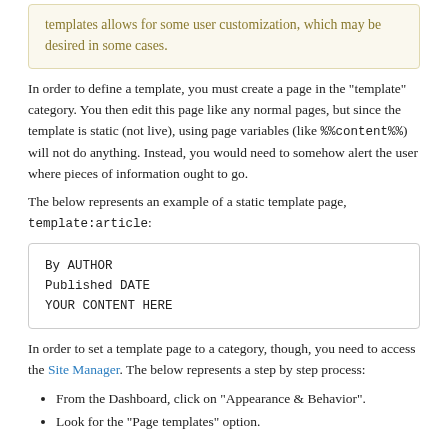templates allows for some user customization, which may be desired in some cases.
In order to define a template, you must create a page in the "template" category. You then edit this page like any normal pages, but since the template is static (not live), using page variables (like %%content%%) will not do anything. Instead, you would need to somehow alert the user where pieces of information ought to go.
The below represents an example of a static template page, template:article:
[Figure (screenshot): Code block showing a static template page example with monospace text: 'By AUTHOR', 'Published DATE', and 'YOUR CONTENT HERE']
In order to set a template page to a category, though, you need to access the Site Manager. The below represents a step by step process:
From the Dashboard, click on "Appearance & Behavior".
Look for the "Page templates" option.